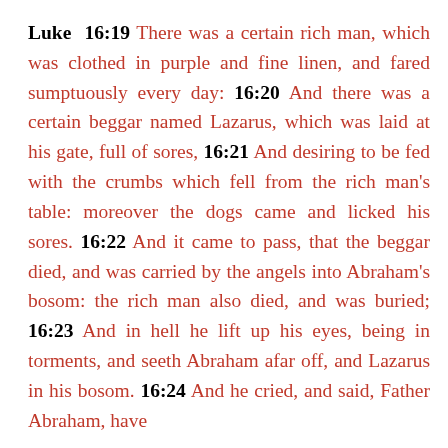Luke 16:19 There was a certain rich man, which was clothed in purple and fine linen, and fared sumptuously every day: 16:20 And there was a certain beggar named Lazarus, which was laid at his gate, full of sores, 16:21 And desiring to be fed with the crumbs which fell from the rich man's table: moreover the dogs came and licked his sores. 16:22 And it came to pass, that the beggar died, and was carried by the angels into Abraham's bosom: the rich man also died, and was buried; 16:23 And in hell he lift up his eyes, being in torments, and seeth Abraham afar off, and Lazarus in his bosom. 16:24 And he cried, and said, Father Abraham, have